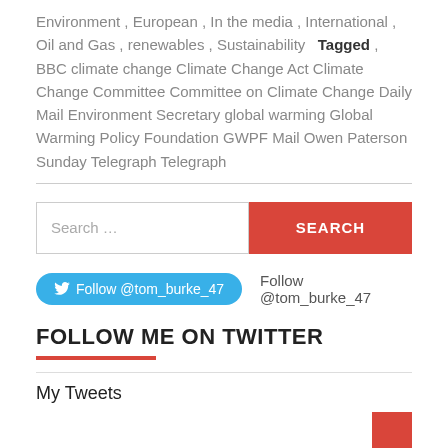Environment , European , In the media , International , Oil and Gas , renewables , Sustainability  Tagged , BBC climate change Climate Change Act Climate Change Committee Committee on Climate Change Daily Mail Environment Secretary global warming Global Warming Policy Foundation GWPF Mail Owen Paterson Sunday Telegraph Telegraph
Search ...
Follow @tom_burke_47  Follow @tom_burke_47
FOLLOW ME ON TWITTER
My Tweets